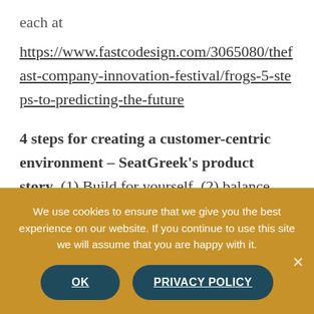each at
https://www.fastcodesign.com/3065080/the-fast-company-innovation-festival/frogs-5-steps-to-predicting-the-future
4 steps for creating a customer-centric environment – SeatGreek's product story. (1) Build for yourself, (2) balance transparency with fan service, (3) feed
We use cookies to ensure that we give you the best experience on our website. If you continue to use this site we will assume that you are happy with it.
OK
PRIVACY POLICY